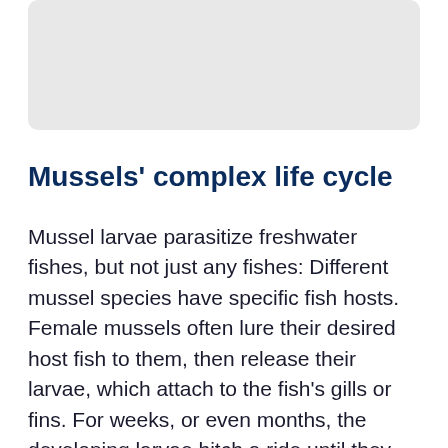[Figure (photo): Gray placeholder image area representing a photograph at the top of the page]
Mussels' complex life cycle
Mussel larvae parasitize freshwater fishes, but not just any fishes: Different mussel species have specific fish hosts. Female mussels often lure their desired host fish to them, then release their larvae, which attach to the fish's gills or fins. For weeks, or even months, the developing larvae hitch a ride until they reach a certain size and detach. The now-juvenile mussels settle into an area and burrow into the mud bottom, growing into relatively